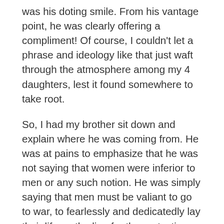was his doting smile. From his vantage point, he was clearly offering a compliment! Of course, I couldn't let a phrase and ideology like that just waft through the atmosphere among my 4 daughters, lest it found somewhere to take root.
So, I had my brother sit down and explain where he was coming from. He was at pains to emphasize that he was not saying that women were inferior to men or any such notion. He was simply saying that men must be valiant to go to war, to fearlessly and dedicatedly lay their life on the line for the protection and preservation of the family and the nation. In other words, men must be great.
A woman on the other hand, according to him, is good when she can support a man and encourage or convince him to fulfill his responsibility; to always take up the mantle to lead and protect. I agree, at least in part.